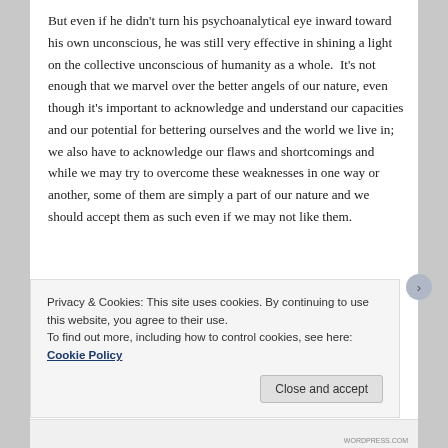But even if he didn't turn his psychoanalytical eye inward toward his own unconscious, he was still very effective in shining a light on the collective unconscious of humanity as a whole.  It's not enough that we marvel over the better angels of our nature, even though it's important to acknowledge and understand our capacities and our potential for bettering ourselves and the world we live in; we also have to acknowledge our flaws and shortcomings and while we may try to overcome these weaknesses in one way or another, some of them are simply a part of our nature and we should accept them as such even if we may not like them.
One of the prevailing theories stemming from Western
Privacy & Cookies: This site uses cookies. By continuing to use this website, you agree to their use.
To find out more, including how to control cookies, see here: Cookie Policy